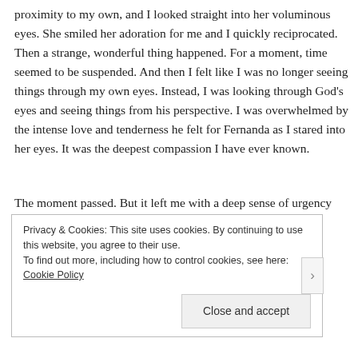proximity to my own, and I looked straight into her voluminous eyes. She smiled her adoration for me and I quickly reciprocated. Then a strange, wonderful thing happened. For a moment, time seemed to be suspended. And then I felt like I was no longer seeing things through my own eyes. Instead, I was looking through God's eyes and seeing things from his perspective. I was overwhelmed by the intense love and tenderness he felt for Fernanda as I stared into her eyes. It was the deepest compassion I have ever known.
The moment passed. But it left me with a deep sense of urgency to make very sure Fernanda and the other children
Privacy & Cookies: This site uses cookies. By continuing to use this website, you agree to their use.
To find out more, including how to control cookies, see here: Cookie Policy
Close and accept